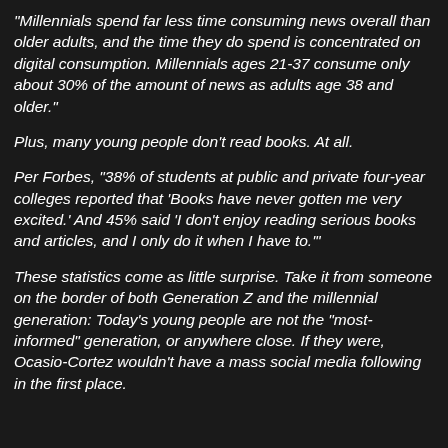“Millennials spend far less time consuming news overall than older adults, and the time they do spend is concentrated on digital consumption. Millennials ages 21-37 consume only about 30% of the amount of news as adults age 38 and older.”
Plus, many young people don’t read books. At all.
Per Forbes, “38% of students at public and private four-year colleges reported that ‘Books have never gotten me very excited.’ And 45% said ‘I don’t enjoy reading serious books and articles, and I only do it when I have to.’”
These statistics come as little surprise. Take it from someone on the border of both Generation Z and the millennial generation: Today’s young people are not the “most-informed” generation, or anywhere close. If they were, Ocasio-Cortez wouldn’t have a mass social media following in the first place.